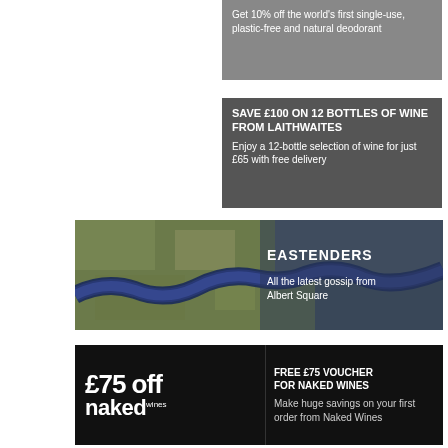[Figure (infographic): Gray advertisement box: Get 10% off the world's first single-use, plastic-free and natural deodorant]
[Figure (infographic): Gray advertisement box: SAVE £100 ON 12 BOTTLES OF WINE FROM LAITHWAITES - Enjoy a 12-bottle selection of wine for just £65 with free delivery]
[Figure (photo): Aerial satellite view of a winding river through a city (London Thames) with EASTENDERS text overlay and caption: All the latest gossip from Albert Square]
[Figure (infographic): Black advertisement box with large white text '£75 off naked wines' logo on left, and FREE £75 VOUCHER FOR NAKED WINES - Make huge savings on your first order from Naked Wines on right]